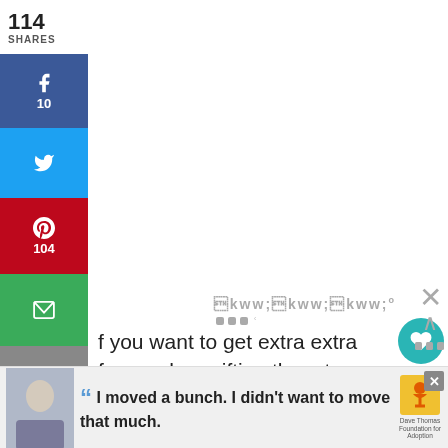114
SHARES
[Figure (infographic): Social media share buttons sidebar: Facebook (10), Twitter, Pinterest (104), Email, Print, Yummly, Tumblr, Flipboard]
If you want to get extra extra fancy when gifting them to your love or friends or neighbors, they would be adorable packaged up in these. I mean there's even a heart on the box guys.
[Figure (infographic): Right-side panel with teal heart button, 118 count, and share icon]
[Figure (infographic): Advertisement banner: Dave Thomas Foundation for Adoption with quote 'I moved a bunch. I didn't want to move that much.']